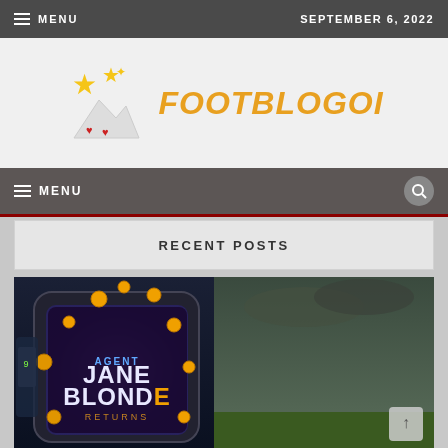MENU | SEPTEMBER 6, 2022
[Figure (logo): Footblogoi website logo with stars and mountain emoji icons and orange italic text FOOTBLOGOI]
MENU
RECENT POSTS
[Figure (photo): Agent Jane Blonde Returns slot game promotional image showing a smartphone with golden coins flying around against a dark cloudy background]